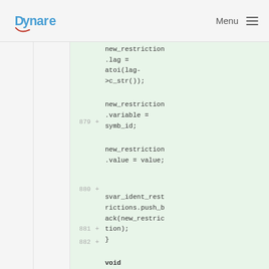Dynare  Menu
new_restriction.lag = atoi(lag->c_str());
879 +
new_restriction.variable = symb_id;
880 +
new_restriction.value = value;
881 +
882 +
svar_ident_restrictions.push_back(new_restriction);
883 + }
884 +
885 + void